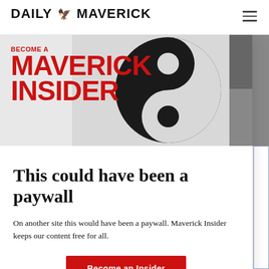DAILY MAVERICK
[Figure (illustration): Become a Maverick Insider promotional banner with large red text and black spiral/yin-yang graphic on grey background]
This could have been a paywall
On another site this would have been a paywall. Maverick Insider keeps our content free for all.
Become an Insider